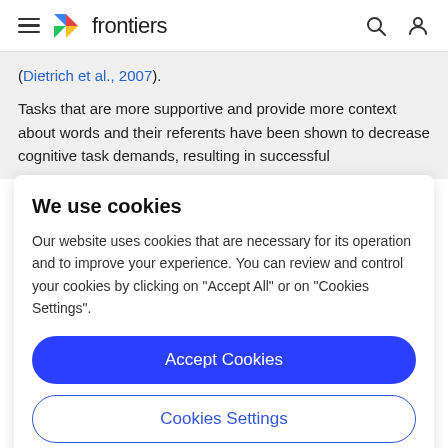frontiers
(Dietrich et al., 2007).
Tasks that are more supportive and provide more context about words and their referents have been shown to decrease cognitive task demands, resulting in successful
We use cookies
Our website uses cookies that are necessary for its operation and to improve your experience. You can review and control your cookies by clicking on "Accept All" or on "Cookies Settings".
Accept Cookies
Cookies Settings